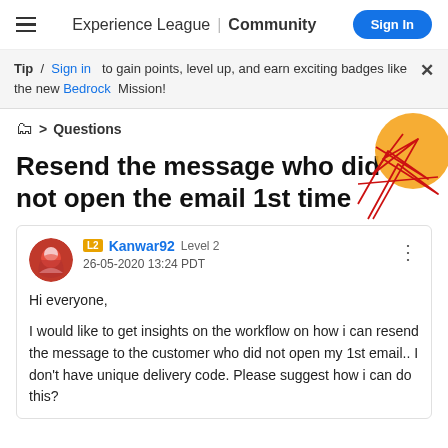Experience League | Community  Sign In
Tip / Sign in to gain points, level up, and earn exciting badges like the new Bedrock Mission!
> Questions
[Figure (illustration): Decorative geometric graphic with red polygon lines and an orange circle]
Resend the message who did not open the email 1st time
Kanwar92  Level 2  26-05-2020 13:24 PDT
Hi everyone,

I would like to get insights on the workflow on how i can resend the message to the customer who did not open my 1st email.. I don't have unique delivery code. Please suggest how i can do this?